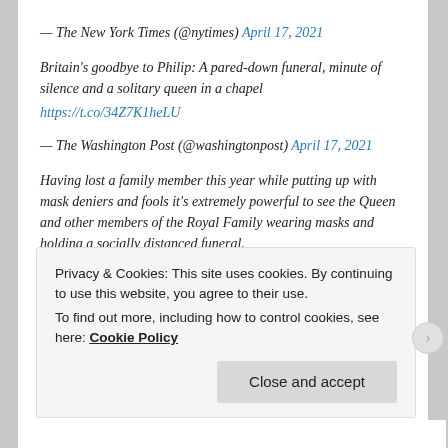— The New York Times (@nytimes) April 17, 2021
Britain's goodbye to Philip: A pared-down funeral, minute of silence and a solitary queen in a chapel https://t.co/34Z7K1heLU
— The Washington Post (@washingtonpost) April 17, 2021
Having lost a family member this year while putting up with mask deniers and fools it's extremely powerful to see the Queen and other members of the Royal Family wearing masks and holding a socially distanced funeral.
Otto English (@Otto_English) April 17, 2021
Privacy & Cookies: This site uses cookies. By continuing to use this website, you agree to their use.
To find out more, including how to control cookies, see here: Cookie Policy